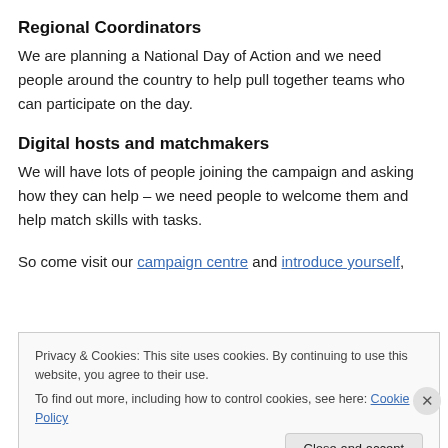Regional Coordinators
We are planning a National Day of Action and we need people around the country to help pull together teams who can participate on the day.
Digital hosts and matchmakers
We will have lots of people joining the campaign and asking how they can help – we need people to welcome them and help match skills with tasks.
So come visit our campaign centre and introduce yourself,
Privacy & Cookies: This site uses cookies. By continuing to use this website, you agree to their use.
To find out more, including how to control cookies, see here: Cookie Policy
Close and accept